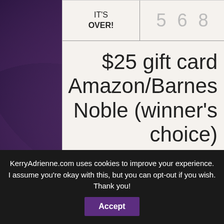[Figure (screenshot): Website screenshot showing a giveaway widget with 'IT'S OVER!' label, number '5 6 8', and prize text '$25 gift card Amazon/Barnes & Noble (winner's choice)']
IT'S OVER!
5 6 8
$25 gift card Amazon/Barnes & Noble (winner's choice)
KerryAdrienne.com uses cookies to improve your experience. I assume you're okay with this, but you can opt-out if you wish. Thank you!